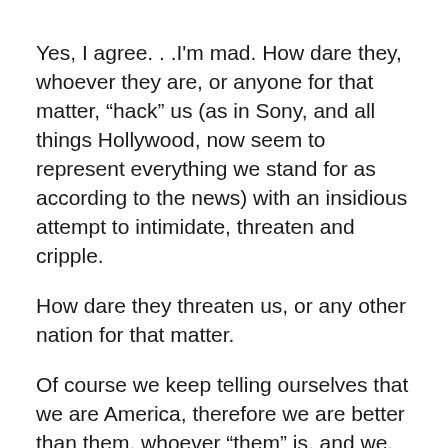Yes, I agree. . .I'm mad. How dare they, whoever they are, or anyone for that matter, “hack” us (as in Sony, and all things Hollywood, now seem to represent everything we stand for as according to the news) with an insidious attempt to intimidate, threaten and cripple.
How dare they threaten us, or any other nation for that matter.
Of course we keep telling ourselves that we are America, therefore we are better than them, whoever “them” is, and we, as Americans, always take the high road on the world stage, right?
We are the good guys.
So how dare they do this to us.

Yet if we are supposedly the good guys and they, whoever they are, are the bad guys, does that not mean there should be some sort of moral approach associated with